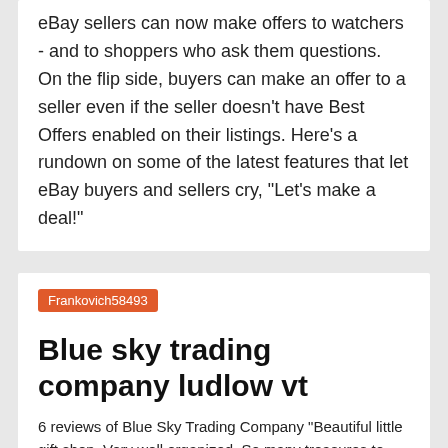eBay sellers can now make offers to watchers - and to shoppers who ask them questions. On the flip side, buyers can make an offer to a seller even if the seller doesn't have Best Offers enabled on their listings. Here's a rundown on some of the latest features that let eBay buyers and sellers cry, "Let's make a deal!"
Frankovich58493
Blue sky trading company ludlow vt
6 reviews of Blue Sky Trading Company "Beautiful little gift shop. Very well organized. So many treasures to see and scoop up!" Looking for a Okemo Valley adventure in Ludlow, Vermont. Manchester Outlets · Northern Ski Works · Blue Sky Trading Company · Tygart Mountain Sports